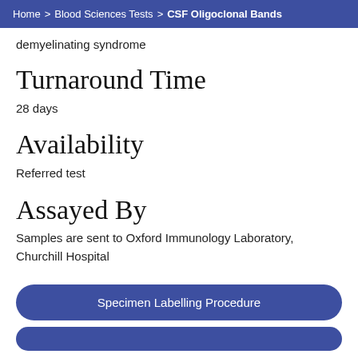Home > Blood Sciences Tests > CSF Oligoclonal Bands
demyelinating syndrome
Turnaround Time
28 days
Availability
Referred test
Assayed By
Samples are sent to Oxford Immunology Laboratory, Churchill Hospital
Specimen Labelling Procedure